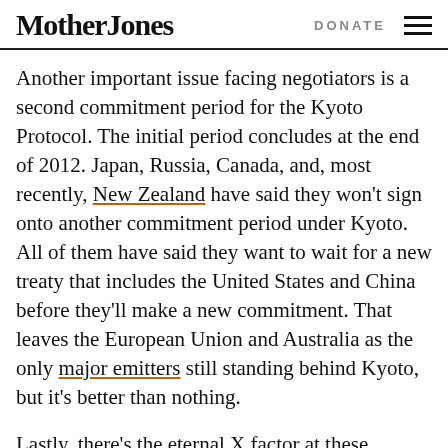Mother Jones | DONATE
Another important issue facing negotiators is a second commitment period for the Kyoto Protocol. The initial period concludes at the end of 2012. Japan, Russia, Canada, and, most recently, New Zealand have said they won't sign onto another commitment period under Kyoto. All of them have said they want to wait for a new treaty that includes the United States and China before they'll make a new commitment. That leaves the European Union and Australia as the only major emitters still standing behind Kyoto, but it's better than nothing.
Lastly, there's the eternal X factor at these negotiations: the United States. Counterparts from E...